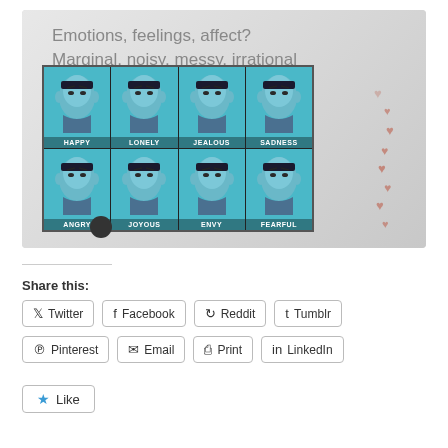[Figure (screenshot): A presentation slide showing 'Emotions, feelings, affect? Marginal, noisy, messy, irrational' as title, with a 4x2 grid of Mr. Spock (Star Trek) portraits each labeled with an emotion: HAPPY, LONELY, JEALOUS, SADNESS (top row), ANGRY, JOYOUS, ENVY, FEARFUL (bottom row). Small red heart emojis float on the right side of the slide.]
Share this:
Twitter Facebook Reddit Tumblr Pinterest Email Print LinkedIn
Like